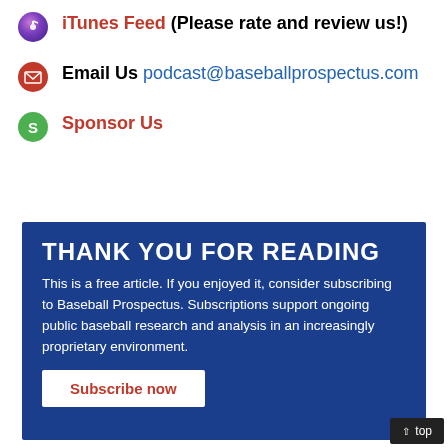iTunes Feed (Please rate and review us!)
Email Us podcast@baseballprospectus.com
Sponsor Us
THANK YOU FOR READING
This is a free article. If you enjoyed it, consider subscribing to Baseball Prospectus. Subscriptions support ongoing public baseball research and analysis in an increasingly proprietary environment.
Subscribe now
^ top